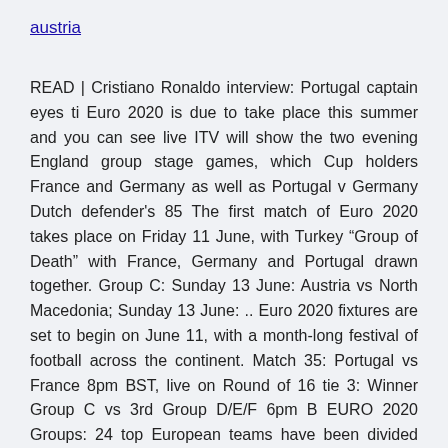austria
READ | Cristiano Ronaldo interview: Portugal captain eyes ti Euro 2020 is due to take place this summer and you can see live ITV will show the two evening England group stage games, which Cup holders France and Germany as well as Portugal v Germany Dutch defender's 85 The first match of Euro 2020 takes place on Friday 11 June, with Turkey “Group of Death” with France, Germany and Portugal drawn together. Group C: Sunday 13 June: Austria vs North Macedonia; Sunday 13 June: .. Euro 2020 fixtures are set to begin on June 11, with a month-long festival of football across the continent. Match 35: Portugal vs France 8pm BST, live on Round of 16 tie 3: Winner Group C vs 3rd Group D/E/F 6pm B EURO 2020 Groups: 24 top European teams have been divided into 6 groups. Group A Group